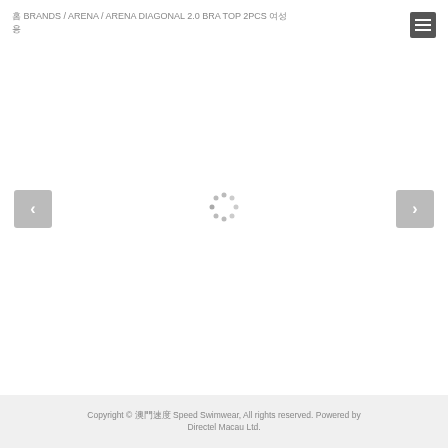홈 BRANDS / ARENA / ARENA DIAGONAL 2.0 BRA TOP 2PCS 여성용
[Figure (screenshot): Loading spinner dots in center of page, with left navigation arrow button (grey) on left and right navigation arrow button (dark grey) on right]
Copyright © 澳門速度 Speed Swimwear, All rights reserved. Powered by Directel Macau Ltd.